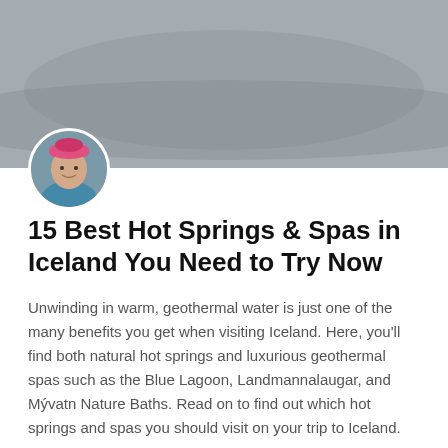[Figure (photo): Gray hero banner image at the top of the article card]
[Figure (photo): Circular avatar photo of a woman wearing a pink hat, outdoors in Iceland]
15 Best Hot Springs & Spas in Iceland You Need to Try Now
Unwinding in warm, geothermal water is just one of the many benefits you get when visiting Iceland. Here, you'll find both natural hot springs and luxurious geothermal spas such as the Blue Lagoon, Landmannalaugar, and Mývatn Nature Baths. Read on to find out which hot springs and spas you should visit on your trip to Iceland.
READ MORE »